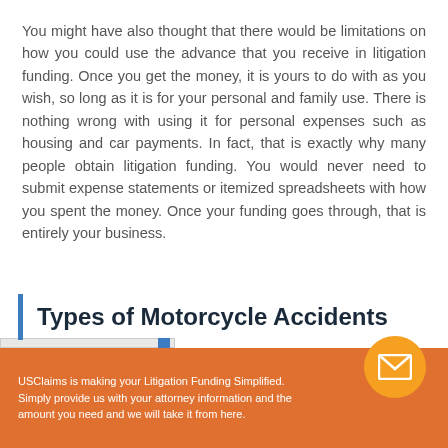You might have also thought that there would be limitations on how you could use the advance that you receive in litigation funding. Once you get the money, it is yours to do with as you wish, so long as it is for your personal and family use. There is nothing wrong with using it for personal expenses such as housing and car payments. In fact, that is exactly why many people obtain litigation funding. You would never need to submit expense statements or itemized spreadsheets with how you spent the money. Once your funding goes through, that is entirely your business.
Types of Motorcycle Accidents
USClaims is making your Litigation Funding Simplified. Simply provide us with your attorney information and the amount you need and we will take it from here.